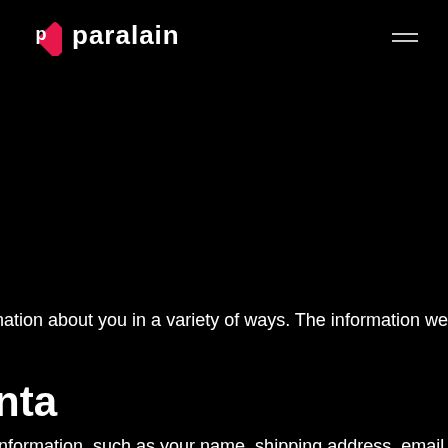paralain
nation about you in a variety of ways. The information we ma
nta
information, such as your name, shipping address, email add